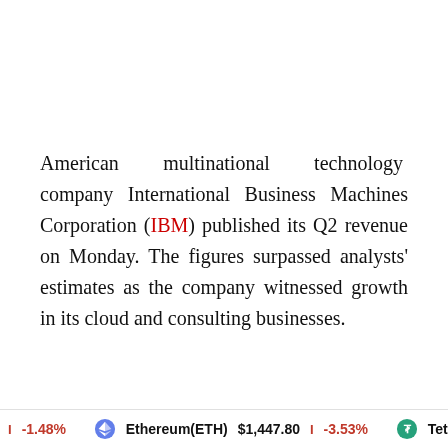American multinational technology company International Business Machines Corporation (IBM) published its Q2 revenue on Monday. The figures surpassed analysts' estimates as the company witnessed growth in its cloud and consulting businesses.
-1.48%   Ethereum(ETH) $1,447.80  -3.53%   Tether(US...